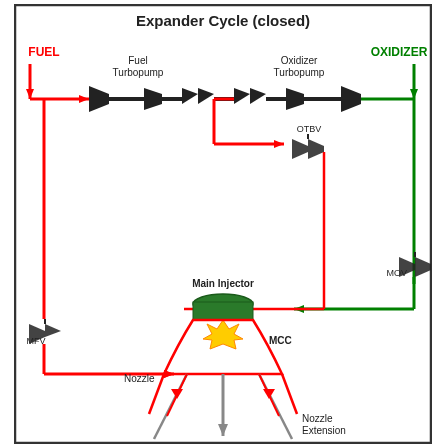[Figure (schematic): Expander Cycle (closed) rocket engine schematic showing fuel and oxidizer flow paths. Red lines show fuel path; green lines show oxidizer path; gray lines show exhaust/nozzle. Components labeled: Fuel Turbopump, Oxidizer Turbopump, OTBV (valve), MOV (Main Oxidizer Valve), MFV (Main Fuel Valve), Main Injector, MCC (Main Combustion Chamber), Nozzle, Nozzle Extension.]